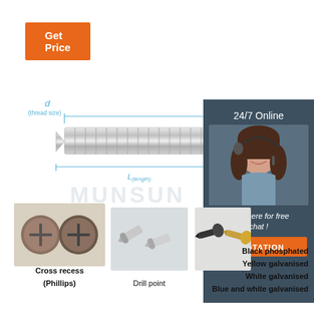Get Price
[Figure (engineering-diagram): Technical drawing of a self-drilling screw showing dimension labels: d (thread size) along the threaded shank length, and L(length) along the total length. The screw is shown in a photorealistic illustration with a flat/wafer head and drill point tip.]
[Figure (photo): Customer service agent (woman with headset, smiling) with '24/7 Online' text above and 'Click here for free chat!' and QUOTATION button below, on dark blue-grey background panel.]
[Figure (photo): Two cross-recess (Phillips) screw heads viewed from above, showing the Phillips drive pattern. Labeled 'Cross recess (Phillips)'.]
[Figure (photo): Two self-drilling screws with drill points shown at an angle. Labeled 'Drill point'.]
[Figure (photo): Two self-drilling screws showing different finishes: black phosphated and yellow galvanised.]
Black phosphated
Yellow galvanised
White galvanised
Blue and white galvanised